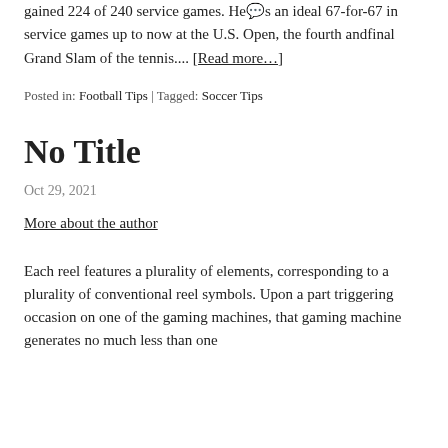gained 224 of 240 service games. He's an ideal 67-for-67 in service games up to now at the U.S. Open, the fourth andfinal Grand Slam of the tennis.... [Read more…]
Posted in: Football Tips | Tagged: Soccer Tips
No Title
Oct 29, 2021
More about the author
Each reel features a plurality of elements, corresponding to a plurality of conventional reel symbols. Upon a part triggering occasion on one of the gaming machines, that gaming machine generates no much less than one...